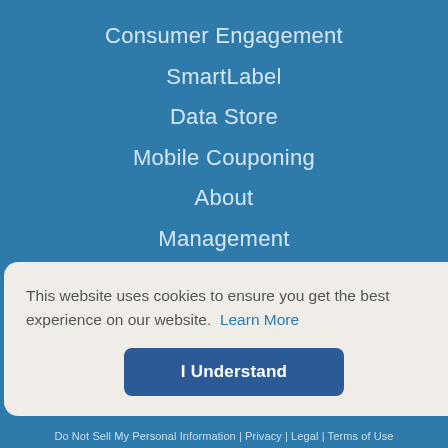Consumer Engagement
SmartLabel
Data Store
Mobile Couponing
About
Management
Newsroom
Careers
Case Studies
Blog
Contact
This website uses cookies to ensure you get the best experience on our website. Learn More
I Understand
Do Not Sell My Personal Information | Privacy | Legal | Terms of Use